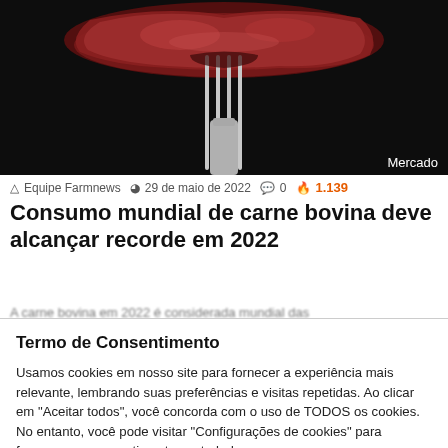[Figure (photo): Close-up photo of a piece of beef steak on a fork against a dark background. 'Mercado' label in white at bottom right.]
Equipe Farmnews  29 de maio de 2022  0  1.139
Consumo mundial de carne bovina deve alcançar recorde em 2022
Termo de Consentimento
Usamos cookies em nosso site para fornecer a experiência mais relevante, lembrando suas preferências e visitas repetidas. Ao clicar em "Aceitar todos", você concorda com o uso de TODOS os cookies. No entanto, você pode visitar "Configurações de cookies" para fornecer um consentimento controlado.
Cookie Settings | Aceito